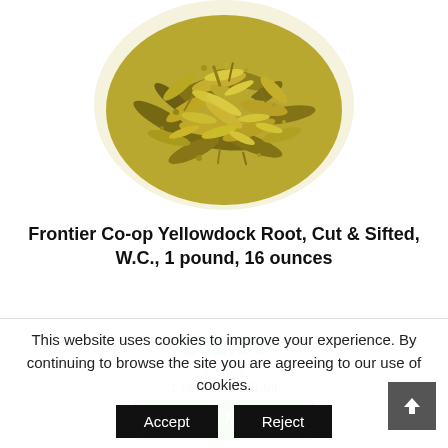[Figure (photo): Pile of dried yellow-green herb (yellowdock root, cut and sifted) on white background, viewed from above]
Frontier Co-op Yellowdock Root, Cut & Sifted, W.C., 1 pound, 16 ounces
$61.99
in stock
1 new from $61.99
Buy Now
This website uses cookies to improve your experience. By continuing to browse the site you are agreeing to our use of cookies.